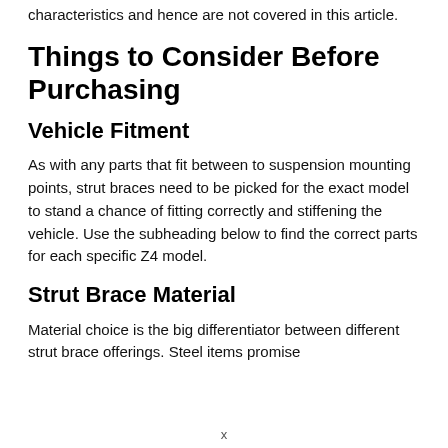characteristics and hence are not covered in this article.
Things to Consider Before Purchasing
Vehicle Fitment
As with any parts that fit between to suspension mounting points, strut braces need to be picked for the exact model to stand a chance of fitting correctly and stiffening the vehicle. Use the subheading below to find the correct parts for each specific Z4 model.
Strut Brace Material
Material choice is the big differentiator between different strut brace offerings. Steel items promise
x